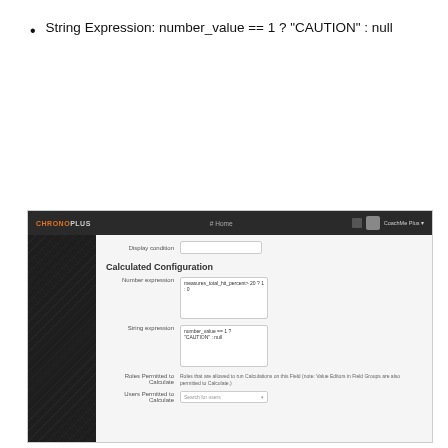String Expression: number_value == 1 ? "CAUTION" : null
[Figure (screenshot): Screenshot of a web application (ChronoPlus) showing a Calculated Configuration form with fields: Display condition, Number expression (containing 'measures_total_hit_percent > 20 ? 1 : 0'), String expression (containing 'number_value == 1 ? "CAUTION" : null'), Roles Permitted to Calculate, and Users Permitted to Calculate with a search box.]